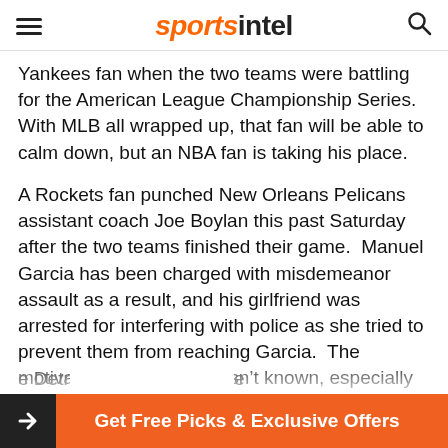sportsintel
Yankees fan when the two teams were battling for the American League Championship Series.  With MLB all wrapped up, that fan will be able to calm down, but an NBA fan is taking his place.
A Rockets fan punched New Orleans Pelicans assistant coach Joe Boylan this past Saturday after the two teams finished their game.  Manuel Garcia has been charged with misdemeanor assault as a result, and his girlfriend was arrested for interfering with police as she tried to prevent them from reaching Garcia.  The motivation for the attack isn't known, especially since Garcia should have been happy.  Hi...
e Detr...e
Get Free Picks & Exclusive Offers